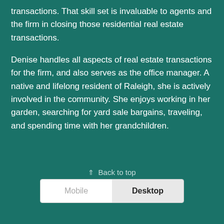transactions. That skill set is invaluable to agents and the firm in closing those residential real estate transactions.
Denise handles all aspects of real estate transactions for the firm, and also serves as the office manager. A native and lifelong resident of Raleigh, she is actively involved in the community. She enjoys working in her garden, searching for yard sale bargains, traveling, and spending time with her grandchildren.
⇑ Back to top
Mobile  Desktop